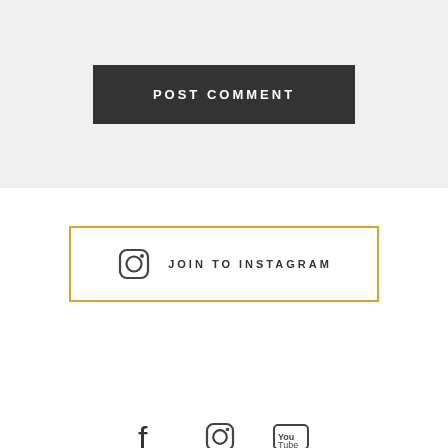[Figure (screenshot): Dark button with white bold uppercase text 'POST COMMENT' on a light grey background]
[Figure (screenshot): Orange-bordered button with Instagram icon and uppercase text 'JOIN TO INSTAGRAM']
[Figure (screenshot): Social media icons: Facebook, Instagram, YouTube]
BACK TOP